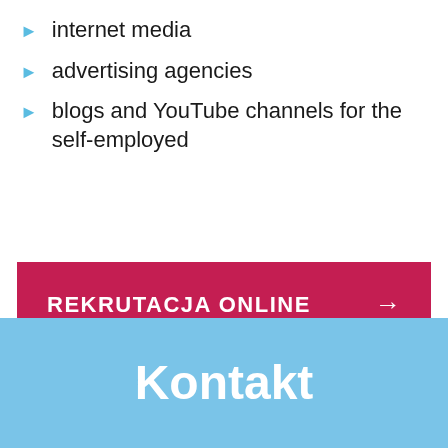internet media
advertising agencies
blogs and YouTube channels for the self-employed
REKRUTACJA ONLINE →
Kontakt